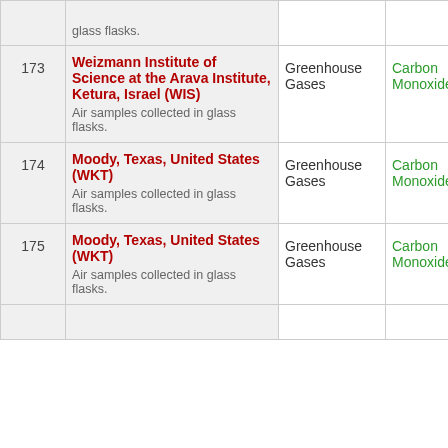| # | Site | Category | Parameter |
| --- | --- | --- | --- |
|  | glass flasks. |  |  |
| 173 | Weizmann Institute of Science at the Arava Institute, Ketura, Israel (WIS)
Air samples collected in glass flasks. | Greenhouse Gases | Carbon Monoxide (CO) |
| 174 | Moody, Texas, United States (WKT)
Air samples collected in glass flasks. | Greenhouse Gases | Carbon Monoxide (CO) |
| 175 | Moody, Texas, United States (WKT)
Air samples collected in glass flasks. | Greenhouse Gases | Carbon Monoxide (CO) |
|  |  |  |  |